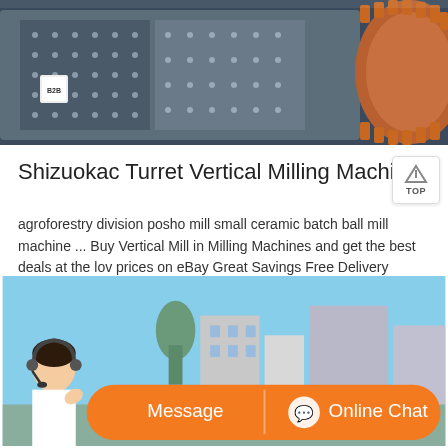[Figure (photo): Close-up photo of a large industrial ball mill or grinding machine with riveted steel panels and orange gear teeth visible on the right side]
Shizuokac Turret Vertical Milling Machine
agroforestry division posho mill small ceramic batch ball mill machine ... Buy Vertical Mill in Milling Machines and get the best deals at the lowest prices on eBay Great Savings Free Delivery Collection on many items Make offerAl-310S X-Axis Torque 450 in-lb Power Feed Vertical Milling Machine 110V220V. Turret Mill.
[Figure (photo): Outdoor photo showing industrial equipment with a sky background, with an orange chat bar overlay showing a customer service representative, a Message button and an Online Chat button]